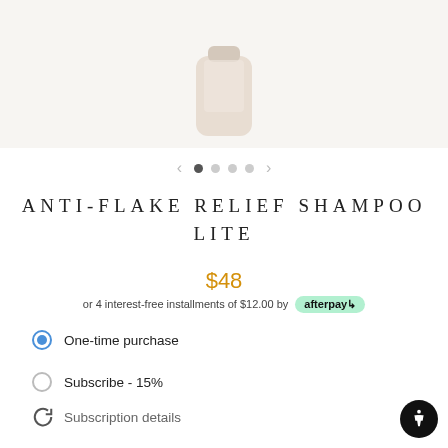PHILIP B.
[Figure (photo): Product image of Philip B. Anti-Flake Relief Shampoo Lite bottle, partially visible at top]
< • ○ ○ ○ >
ANTI-FLAKE RELIEF SHAMPOO LITE
$48
or 4 interest-free installments of $12.00 by afterpay
One-time purchase
Subscribe - 15%
Subscription details